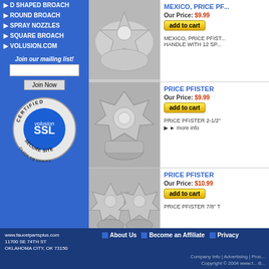D SHAPED BROACH
ROUND BROACH
SPRAY NOZZLES
SQUARE BROACH
VOLUSION.COM
Join our mailing list!
[Figure (logo): Volusion SSL Certified Secure Site badge with blue circular logo]
MEXICO, PRICE PF...
Our Price: $9.99
add to cart
MEXICO, PRICE PFIST... HANDLE WITH 12 SP...
[Figure (photo): Chrome star-shaped faucet handle knob, top view]
PRICE PFISTER
Our Price: $9.99
add to cart
PRICE PFISTER 2-1/2"
more info
[Figure (photo): Chrome hexagonal faucet valve knob with center jewel]
PRICE PFISTER
Our Price: $10.99
add to cart
PRICE PFISTER 7/8" T
[Figure (photo): Two chrome star-shaped faucet handles, side by side]
About Us   Become an Affiliate   Privacy   Company Info | Advertising | Proc... Copyright © 2004 www.f... B...
www.faucetpartsplus.com 11700 SE 74TH ST OKLAHOMA CITY, OK 73150